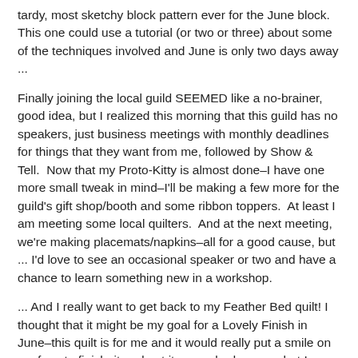tardy, most sketchy block pattern ever for the June block.  This one could use a tutorial (or two or three) about some of the techniques involved and June is only two days away ...
Finally joining the local guild SEEMED like a no-brainer, good idea, but I realized this morning that this guild has no speakers, just business meetings with monthly deadlines for things that they want from me, followed by Show & Tell.  Now that my Proto-Kitty is almost done–I have one more small tweak in mind–I'll be making a few more for the guild's gift shop/booth and some ribbon toppers.  At least I am meeting some local quilters.  And at the next meeting, we're making placemats/napkins–all for a good cause, but ... I'd love to see an occasional speaker or two and have a chance to learn something new in a workshop.
... And I really want to get back to my Feather Bed quilt! I thought that it might be my goal for a Lovely Finish in June–this quilt is for me and it would really put a smile on my face to finish  it and put it on my bed soon ... but I am going to have to play catch-up pretty quickly to make it happen.